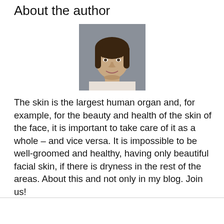About the author
[Figure (photo): Headshot photo of a young woman with long dark hair and bangs, smiling, against a grey background.]
The skin is the largest human organ and, for example, for the beauty and health of the skin of the face, it is important to take care of it as a whole – and vice versa. It is impossible to be well-groomed and healthy, having only beautiful facial skin, if there is dryness in the rest of the areas. About this and not only in my blog. Join us!